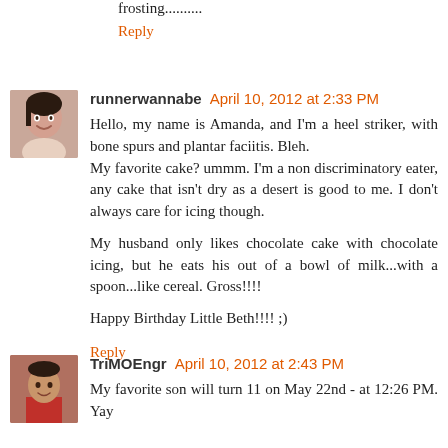frosting..........
Reply
runnerwannabe April 10, 2012 at 2:33 PM
Hello, my name is Amanda, and I'm a heel striker, with bone spurs and plantar faciitis. Bleh.
My favorite cake? ummm. I'm a non discriminatory eater, any cake that isn't dry as a desert is good to me. I don't always care for icing though.

My husband only likes chocolate cake with chocolate icing, but he eats his out of a bowl of milk...with a spoon...like cereal. Gross!!!!

Happy Birthday Little Beth!!!! ;)
Reply
TriMOEngr April 10, 2012 at 2:43 PM
My favorite son will turn 11 on May 22nd - at 12:26 PM. Yay